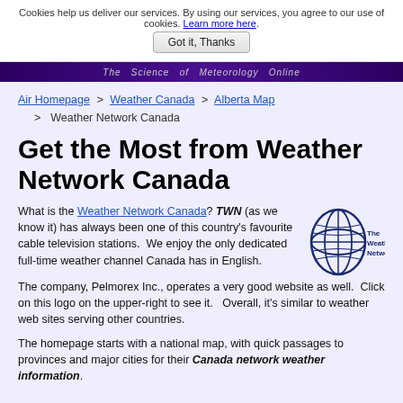Cookies help us deliver our services. By using our services, you agree to our use of cookies. Learn more here.
Got it, Thanks
[Figure (screenshot): Dark purple banner with text 'The Science of Meteorology Online']
Air Homepage > Weather Canada > Alberta Map > Weather Network Canada
Get the Most from Weather Network Canada
What is the Weather Network Canada? TWN (as we know it) has always been one of this country's favourite cable television stations. We enjoy the only dedicated full-time weather channel Canada has in English.
[Figure (logo): The Weather Network logo with globe icon and text 'The Weather Network']
The company, Pelmorex Inc., operates a very good website as well. Click on this logo on the upper-right to see it. Overall, it's similar to weather web sites serving other countries.
The homepage starts with a national map, with quick passages to provinces and major cities for their Canada network weather information.